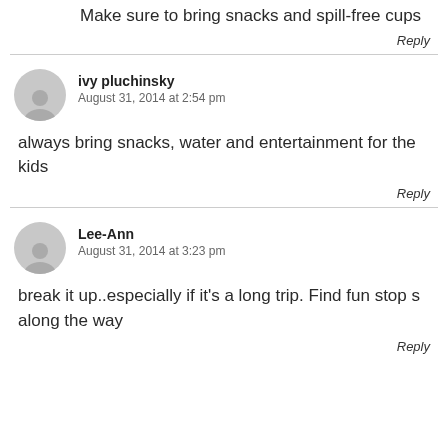Make sure to bring snacks and spill-free cups
Reply
ivy pluchinsky
August 31, 2014 at 2:54 pm
always bring snacks, water and entertainment for the kids
Reply
Lee-Ann
August 31, 2014 at 3:23 pm
break it up..especially if it's a long trip. Find fun stop s along the way
Reply